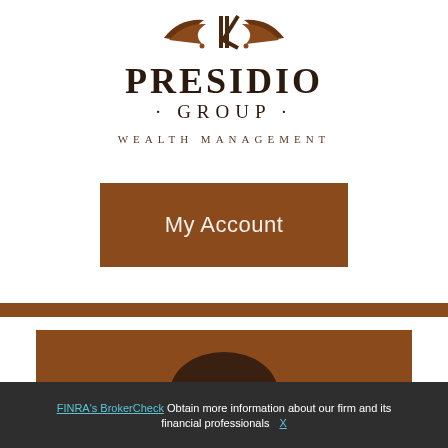[Figure (logo): Presidio Group Wealth Management logo with decorative emblem above text]
My Account
[Figure (photo): Person's head partially visible against orange/brown background]
FINRA's BrokerCheck Obtain more information about our firm and its financial professionals X